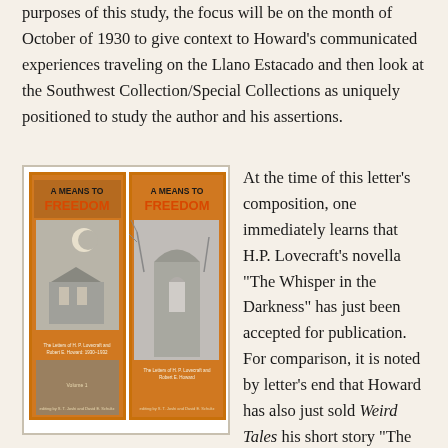purposes of this study, the focus will be on the month of October of 1930 to give context to Howard's communicated experiences traveling on the Llano Estacado and then look at the Southwest Collection/Special Collections as uniquely positioned to study the author and his assertions.
[Figure (photo): Two book covers side by side for 'A Means to Freedom' showing the letters of H.P. Lovecraft and Robert E. Howard 1930-1932. Both covers have orange backgrounds with the title text and grayscale imagery of buildings/architecture.]
At the time of this letter's composition, one immediately learns that H.P. Lovecraft's novella "The Whisper in the Darkness" has just been accepted for publication. For comparison, it is noted by letter's end that Howard has also just sold Weird Tales his short story "The Children of the Night," wherein he has firmly embraced his Bran-cult along with all of Lovecraft's Elder Gods and Necronomicon. The attention needed here, though, looks to the last paragraph